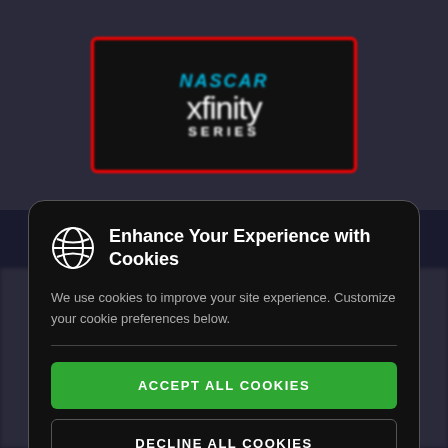[Figure (screenshot): Blurred NASCAR Xfinity Series website background with dark overlay]
Enhance Your Experience with Cookies
We use cookies to improve your site experience. Customize your cookie preferences below.
ACCEPT ALL COOKIES
DECLINE ALL COOKIES
CUSTOMIZE COOKIES